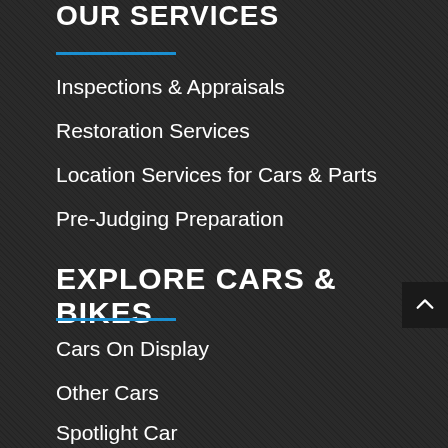OUR SERVICES
Inspections & Appraisals
Restoration Services
Location Services for Cars & Parts
Pre-Judging Preparation
EXPLORE CARS & BIKES
Cars On Display
Other Cars
Spotlight Car